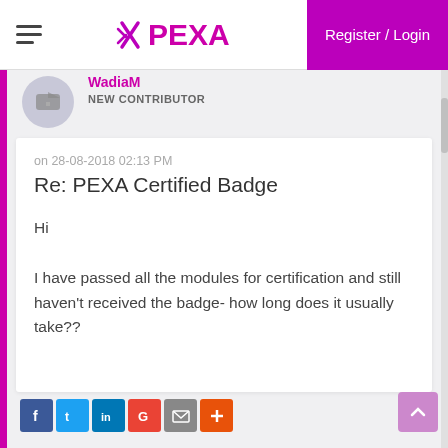PEXA — Register / Login
WadiaM — NEW CONTRIBUTOR
on 28-08-2018 02:13 PM
Re: PEXA Certified Badge
Hi

I have passed all the modules for certification and still haven't received the badge- how long does it usually take??
[Figure (screenshot): Social share buttons: Facebook, Twitter, LinkedIn, Google, Email, Plus]